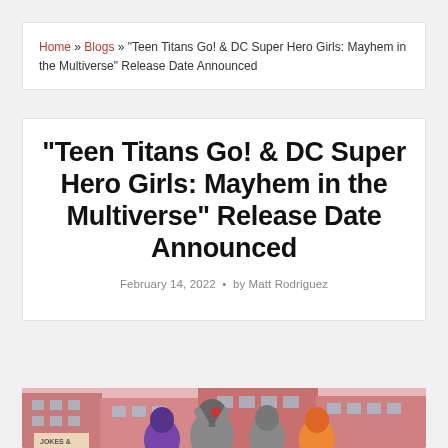Home » Blogs » "Teen Titans Go! & DC Super Hero Girls: Mayhem in the Multiverse" Release Date Announced
"Teen Titans Go! & DC Super Hero Girls: Mayhem in the Multiverse" Release Date Announced
February 14, 2022 • by Matt Rodriguez
[Figure (illustration): Cartoon illustration of Teen Titans Go characters including Raven, Cyborg, and Starfire in front of a brick building. A sign reading JOKES is visible.]